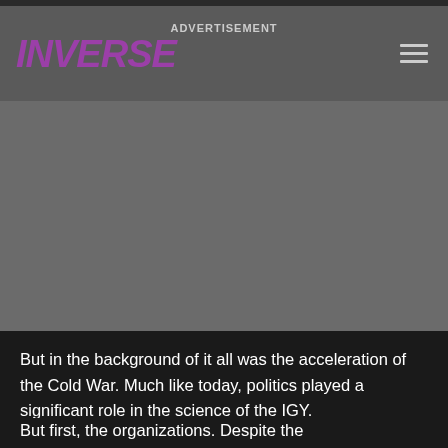INVERSE | ADVERTISEMENT
[Figure (other): Gray advertisement placeholder area]
But in the background of it all was the acceleration of the Cold War. Much like today, politics played a significant role in the science of the IGY.
But first, the organizations. Despite the age